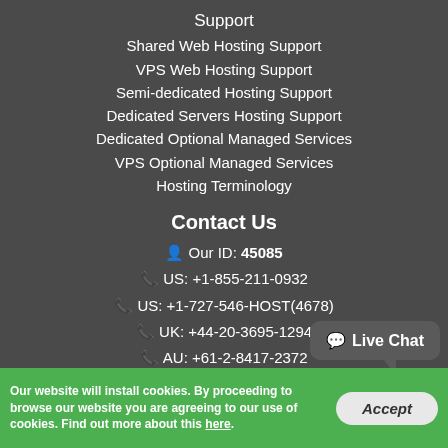Support
Shared Web Hosting Support
VPS Web Hosting Support
Semi-dedicated Hosting Support
Dedicated Servers Hosting Support
Dedicated Optional Managed Services
VPS Optional Managed Services
Hosting Terminology
Contact Us
Our ID: 45085
US: +1-855-211-0932
US: +1-727-546-HOST(4678)
UK: +44-20-3695-1294
AU: +61-2-8417-2372
Live Chat
Our website will install cookies. By proceeding to browse our website you are agreeing to our use of cookies. Find out more about this here.